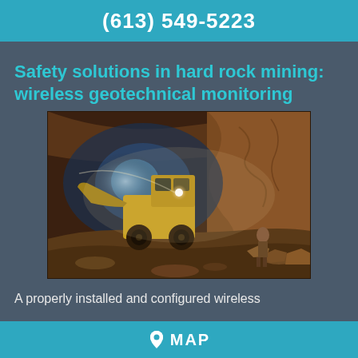(613) 549-5223
Safety solutions in hard rock mining: wireless geotechnical monitoring
[Figure (photo): Underground hard rock mine with a yellow front loader / backhoe operating in a dusty tunnel lit by bright headlights, with a worker visible in the background among rock debris.]
A properly installed and configured wireless
MAP